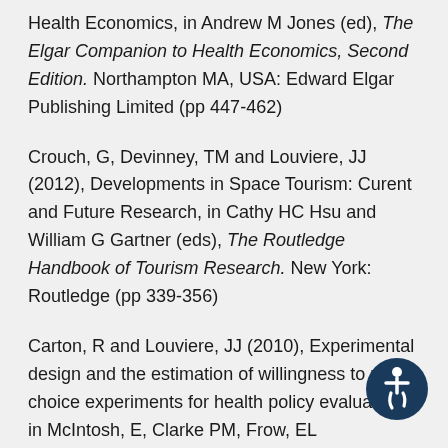Health Economics, in Andrew M Jones (ed), The Elgar Companion to Health Economics, Second Edition. Northampton MA, USA: Edward Elgar Publishing Limited (pp 447-462)
Crouch, G, Devinney, TM and Louviere, JJ (2012), Developments in Space Tourism: Curent and Future Research, in Cathy HC Hsu and William G Gartner (eds), The Routledge Handbook of Tourism Research. New York: Routledge (pp 339-356)
Carton, R and Louviere, JJ (2010), Experimental design and the estimation of willingness to pay in choice experiments for health policy evaluation, in McIntosh, E, Clarke PM, Frow, EL